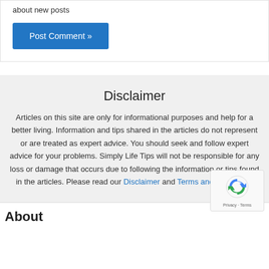about new posts
Post Comment »
Disclaimer
Articles on this site are only for informational purposes and help for a better living. Information and tips shared in the articles do not represent or are treated as expert advice. You should seek and follow expert advice for your problems. Simply Life Tips will not be responsible for any loss or damage that occurs due to following the information or tips found in the articles. Please read our Disclaimer and Terms and conditions.
About